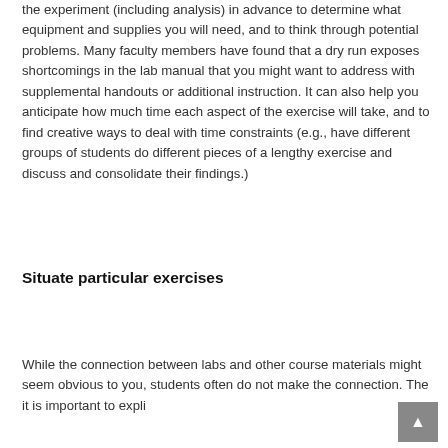the experiment (including analysis) in advance to determine what equipment and supplies you will need, and to think through potential problems. Many faculty members have found that a dry run exposes shortcomings in the lab manual that you might want to address with supplemental handouts or additional instruction. It can also help you anticipate how much time each aspect of the exercise will take, and to find creative ways to deal with time constraints (e.g., have different groups of students do different pieces of a lengthy exercise and discuss and consolidate their findings.)
Situate particular exercises
While the connection between labs and other course materials might seem obvious to you, students often do not make the connection. The it is important to explicitly...